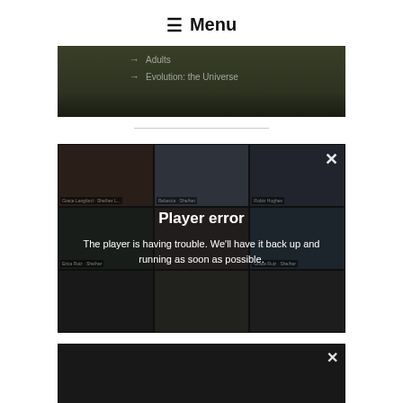≡ Menu
[Figure (screenshot): Partial dark-themed video/webpage screenshot showing menu items with arrows: 'Adults' and 'Evolution: the Universe']
[Figure (screenshot): Video player showing a grid of video call thumbnails with multiple participants, overlaid with a 'Player error' message: 'The player is having trouble. We'll have it back up and running as soon as possible.' with a close X button.]
[Figure (screenshot): Partial bottom video player block, partially cut off, with a close X button visible]